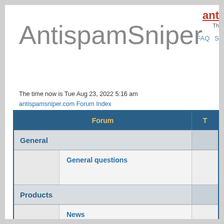AntispamSniper
ant- | Th | FAQ S
The time now is Tue Aug 23, 2022 5:16 am
antispamsniper.com Forum Index
| Forum | T |
| --- | --- |
| General |  |
| General questions |  |
| Products |  |
| News
Updates, releases, announcements |  |
| AntispamSniper for TheBat!
AntispamSniper for TheBat! support forum |  |
| AntispamSniper for Outlook
AntispamSniper for Outlook support forum |  |